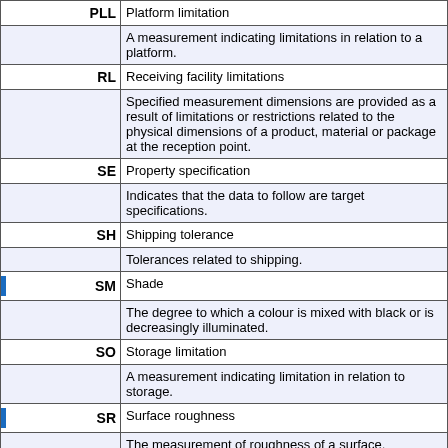| Code | Description |
| --- | --- |
| PLL | Platform limitation |
|  | A measurement indicating limitations in relation to a platform. |
| RL | Receiving facility limitations |
|  | Specified measurement dimensions are provided as a result of limitations or restrictions related to the physical dimensions of a product, material or package at the reception point. |
| SE | Property specification |
|  | Indicates that the data to follow are target specifications. |
| SH | Shipping tolerance |
|  | Tolerances related to shipping. |
| ▌ SM | Shade |
|  | The degree to which a colour is mixed with black or is decreasingly illuminated. |
| SO | Storage limitation |
|  | A measurement indicating limitation in relation to storage. |
| ▌ SR | Surface roughness |
|  | The measurement of roughness of a surface. |